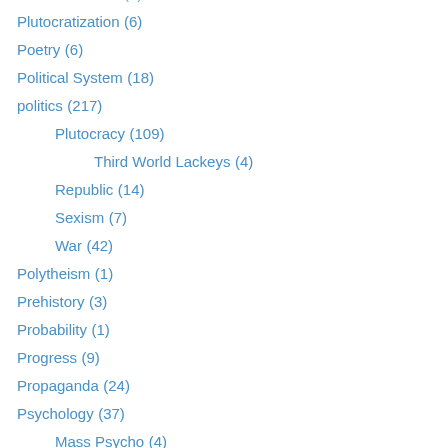Plutocratization (2)
Plutocratization (6)
Poetry (6)
Political System (18)
politics (217)
Plutocracy (109)
Third World Lackeys (4)
Republic (14)
Sexism (7)
War (42)
Polytheism (1)
Prehistory (3)
Probability (1)
Progress (9)
Propaganda (24)
Psychology (37)
Mass Psycho (4)
Metanoia (1)
Outrage (2)
Struggle for Life (2)